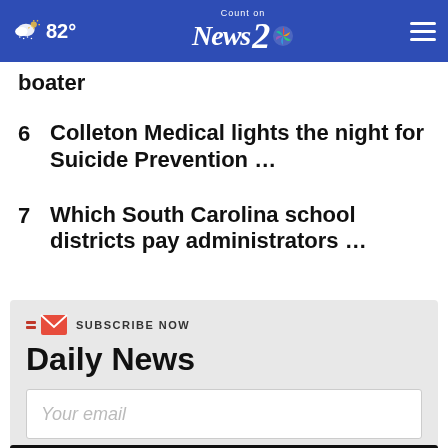82° Count on News 2 NBC
boater
6  Colleton Medical lights the night for Suicide Prevention ...
7  Which South Carolina school districts pay administrators ...
SUBSCRIBE NOW
Daily News
Your email
SIGN UP NOW